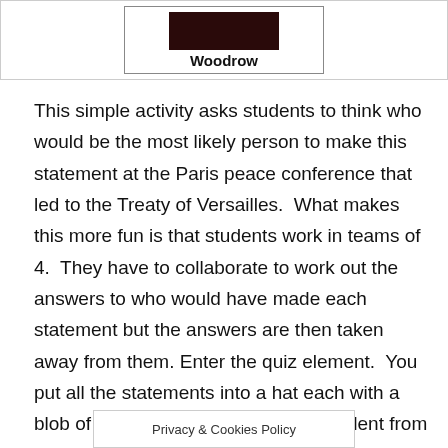[Figure (photo): A partially visible photo of a person (Woodrow) shown in a bordered table cell with the name label 'Woodrow' below it]
This simple activity asks students to think who would be the most likely person to make this statement at the Paris peace conference that led to the Treaty of Versailles.  What makes this more fun is that students work in teams of 4.  They have to collaborate to work out the answers to who would have made each statement but the answers are then taken away from them. Enter the quiz element.  You put all the statements into a hat each with a blob of ‘blu-tak’ on the back.  One student from each team will be chosen at random to come to the front of the room and place the quotations under the correct country/leader. This means that teams must coach every member to prevent th...er.  Allow
Privacy & Cookies Policy